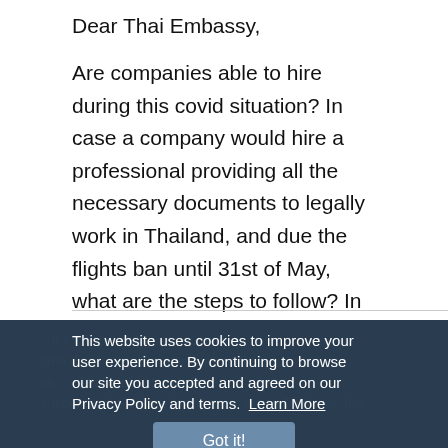Dear Thai Embassy,
Are companies able to hire during this covid situation? In case a company would hire a professional providing all the necessary documents to legally work in Thailand, and due the flights ban until 31st of May, what are the steps to follow? In this case the professional they would hire is myself, on tourist visa under amnesty till July 2020. When is it possible to be hired? Thanks for the support
This website uses cookies to improve your user experience. By continuing to browse our site you accepted and agreed on our Privacy Policy and terms. Learn More
Got it!
...It for Thai companies to hire time due to travel restrictions and also se Thai embassy were suspended. So if the foreigner is not in Thailand, the